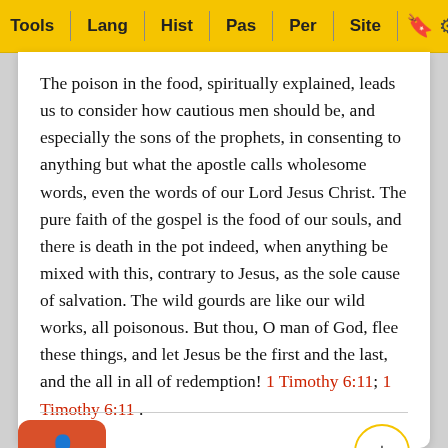Tools | Lang | Hist | Pas | Per | Site
The poison in the food, spiritually explained, leads us to consider how cautious men should be, and especially the sons of the prophets, in consenting to anything but what the apostle calls wholesome words, even the words of our Lord Jesus Christ. The pure faith of the gospel is the food of our souls, and there is death in the pot indeed, when anything be mixed with this, contrary to Jesus, as the sole cause of salvation. The wild gourds are like our wild works, all poisonous. But thou, O man of God, flee these things, and let Jesus be the first and the last, and the all in all of redemption! 1 Timothy 6:11; 1 Timothy 6:11.
ses 42-44
I cann
menti
he